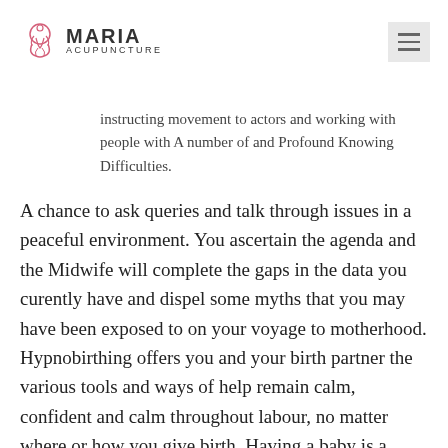MARIA ACUPUNCTURE
instructing movement to actors and working with people with A number of and Profound Knowing Difficulties.
A chance to ask queries and talk through issues in a peaceful environment. You ascertain the agenda and the Midwife will complete the gaps in the data you curently have and dispel some myths that you may have been exposed to on your voyage to motherhood. Hypnobirthing offers you and your birth partner the various tools and ways of help remain calm, confident and calm throughout labour, no matter where or how you give birth. Having a baby is a beautiful and all natural process and so when young couples face issues conceiving it's no real surprise that it could bring on a whirlwind of feelings hindering the procedure of conception. Physiotherapists using acupuncture at the